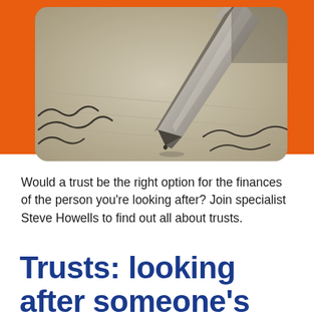[Figure (photo): Close-up photo of a fountain pen nib writing cursive script on lined paper, photographed at an angle with shallow depth of field. The pen tip is sharp and metallic, and handwritten text is visible on the paper below.]
Would a trust be the right option for the finances of the person you're looking after? Join specialist Steve Howells to find out all about trusts.
Trusts: looking after someone's affairs